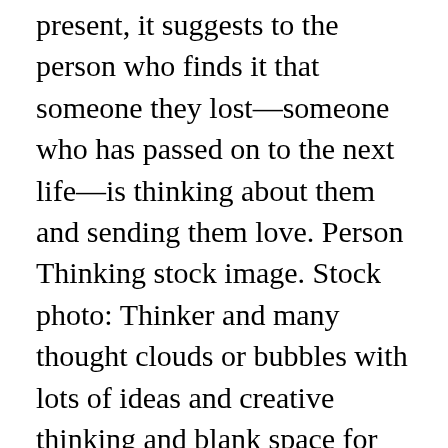present, it suggests to the person who finds it that someone they lost—someone who has passed on to the next life—is thinking about them and sending them love. Person Thinking stock image. Stock photo: Thinker and many thought clouds or bubbles with lots of ideas and creative thinking and blank space for your words, text, message or copy Stock photo #6123656 Thinker Thought Clouds Bubbles Thinking Person Many Ideas Blank by iqoncept Free for commercial use High Quality Images The Myers–Briggs Type Indicator (MBTI) is an introspective self-report questionnaire indicating differing psychological preferences in how people perceive the world and make decisions. Royalty-free clipart picture of a